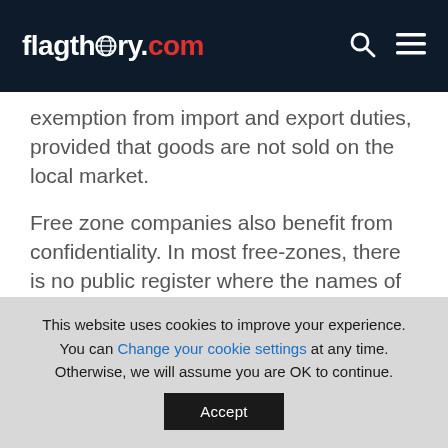flagtheory.com
exemption from import and export duties, provided that goods are not sold on the local market.
Free zone companies also benefit from confidentiality. In most free-zones, there is no public register where the names of shareholders and directors are disclosed.
All this combined with a highly developed logistics infrastructure, affordable energy
This website uses cookies to improve your experience. You can Change your cookie settings at any time. Otherwise, we will assume you are OK to continue.